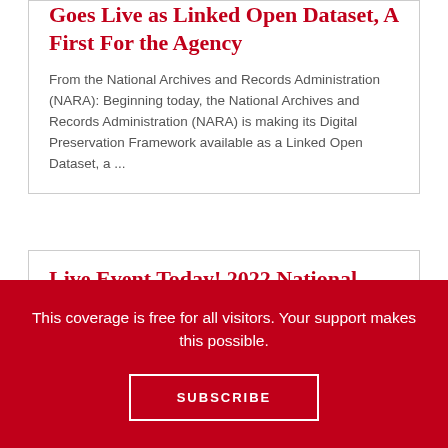Goes Live as Linked Open Dataset, A First For the Agency
From the National Archives and Records Administration (NARA): Beginning today, the National Archives and Records Administration (NARA) is making its Digital Preservation Framework available as a Linked Open Dataset, a ...
Live Event Today! 2022 National Medal for Museum and Library Service Virtual Ceremony
This coverage is free for all visitors. Your support makes this possible.